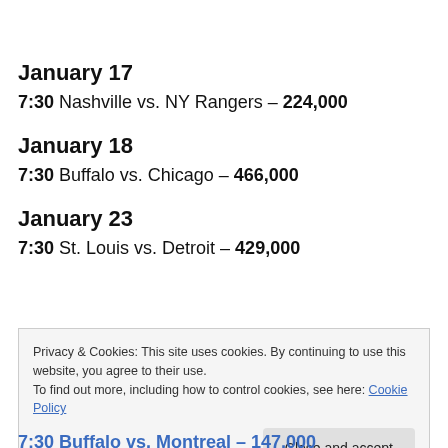January 17
7:30 Nashville vs. NY Rangers – 224,000
January 18
7:30 Buffalo vs. Chicago – 466,000
January 23
7:30 St. Louis vs. Detroit – 429,000
Privacy & Cookies: This site uses cookies. By continuing to use this website, you agree to their use.
To find out more, including how to control cookies, see here: Cookie Policy
Close and accept